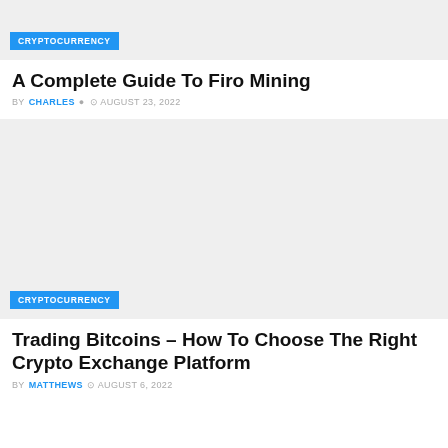[Figure (photo): Gray placeholder image for article 1 with CRYPTOCURRENCY category badge]
A Complete Guide To Firo Mining
BY CHARLES  AUGUST 23, 2022
[Figure (photo): Gray placeholder image for article 2 with CRYPTOCURRENCY category badge]
Trading Bitcoins – How To Choose The Right Crypto Exchange Platform
BY MATTHEWS  AUGUST 6, 2022